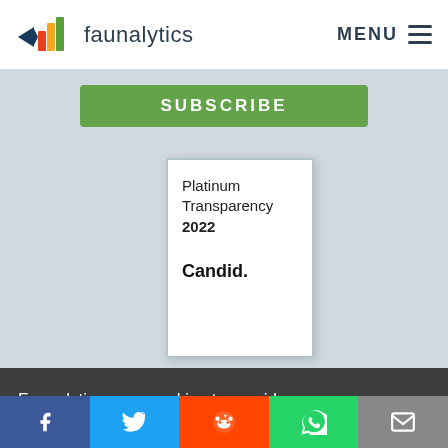faunalytics  MENU
[Figure (other): Green SUBSCRIBE button partially visible at top of gray content area]
[Figure (other): Candid Platinum Transparency 2022 badge card showing white card with border and text]
Platinum Transparency 2022

Candid.
Faunalytics uses cookies to provide necessary site functionality and to help us understand how you use our website. By continuing to use this site, you agree to
[Figure (other): I AGREE button in teal color]
Facebook  Twitter  Reddit  WhatsApp  Email social sharing bar